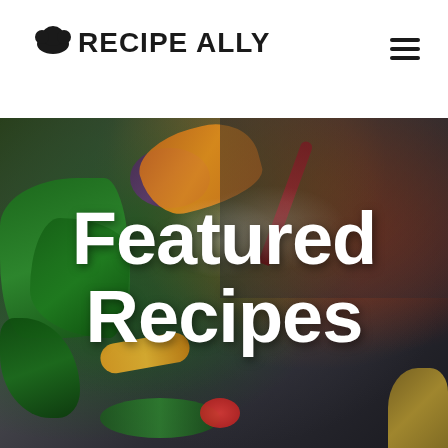RECIPE ALLY
[Figure (photo): Overhead food photography on dark slate surface showing various ingredients including salmon/shrimp, fresh green herbs (basil, dill), red chili pepper, purple herbs, spices scattered on surface, orange/yellow pepper slice, tomato, and a circular tin in the bottom right corner.]
Featured Recipes